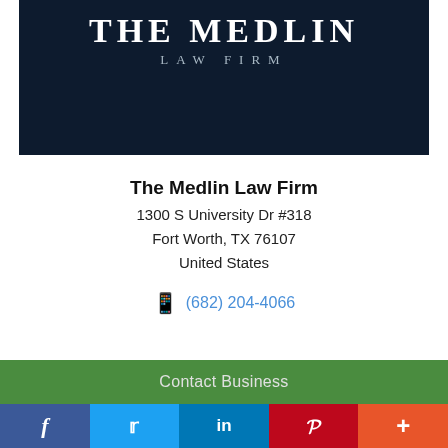[Figure (logo): The Medlin Law Firm logo — dark navy background with 'THE MEDLIN' in large serif white letters and 'LAW FIRM' in smaller spaced caps below]
The Medlin Law Firm
1300 S University Dr #318
Fort Worth, TX 76107
United States
(682) 204-4066
Contact Business
f  t  in  P  +